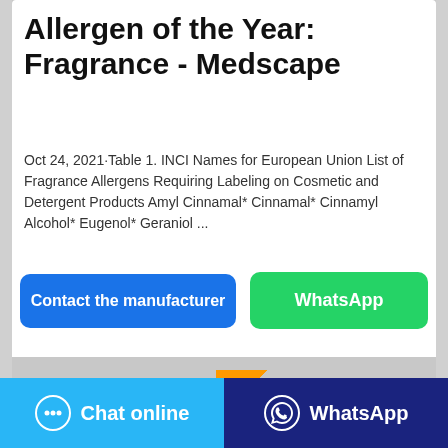[Figure (photo): Top banner image, partially visible, gray background]
Allergen of the Year: Fragrance - Medscape
Oct 24, 2021·Table 1. INCI Names for European Union List of Fragrance Allergens Requiring Labeling on Cosmetic and Detergent Products Amyl Cinnamal* Cinnamal* Cinnamyl Alcohol* Eugenol* Geraniol ...
Contact the manufacturer
WhatsApp
[Figure (photo): Bottom banner image with orange diagonal accent, gray background]
Chat online
WhatsApp